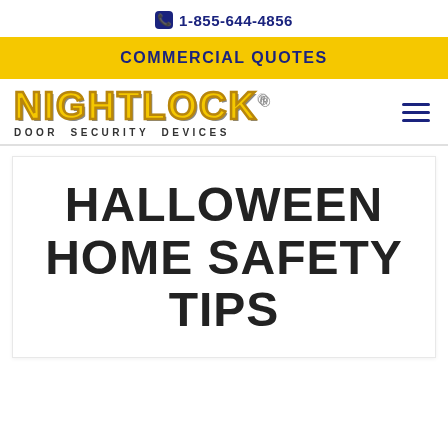📞 1-855-644-4856
COMMERCIAL QUOTES
[Figure (logo): Nightlock Door Security Devices logo with yellow block lettering and dark outline, subtitle reads DOOR SECURITY DEVICES]
HALLOWEEN HOME SAFETY TIPS